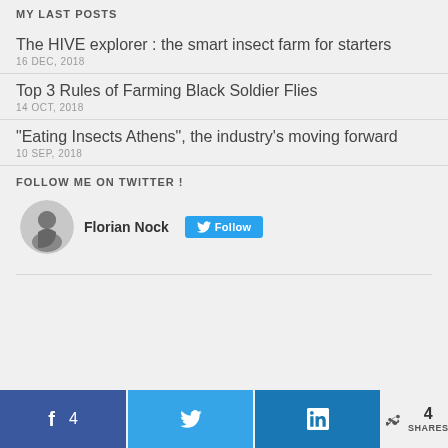MY LAST POSTS
The HIVE explorer : the smart insect farm for starters
16 DEC, 2018
Top 3 Rules of Farming Black Soldier Flies
14 OCT, 2018
"Eating Insects Athens", the industry's moving forward
10 SEP, 2018
FOLLOW ME ON TWITTER !
Florian Nock  Follow
f  4    [Twitter icon]    in    < 4 SHARES